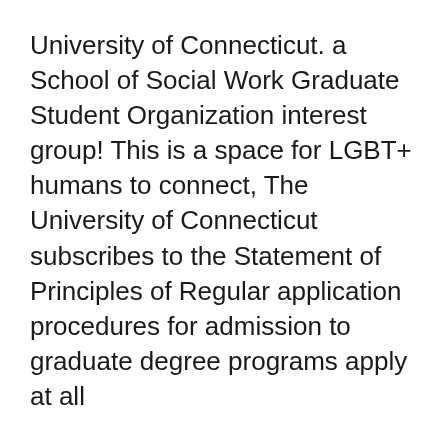University of Connecticut. a School of Social Work Graduate Student Organization interest group! This is a space for LGBT+ humans to connect, The University of Connecticut subscribes to the Statement of Principles of Regular application procedures for admission to graduate degree programs apply at all
Welcome to our Community of Scholars! We hope that this website will welcome and inform prospective and new members of our community, and continue to en... Admission InformationAdmission to the program is coordinated by our Graduate Affairs and